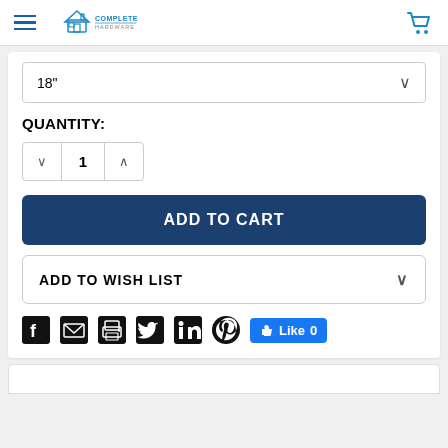Complete Home Hardware navigation header with hamburger menu and cart icon
18"
QUANTITY:
1
ADD TO CART
ADD TO WISH LIST
[Figure (other): Social sharing icons row: Facebook, Email, Print, Twitter, LinkedIn, Pinterest, and a Facebook Like button showing 0 likes]